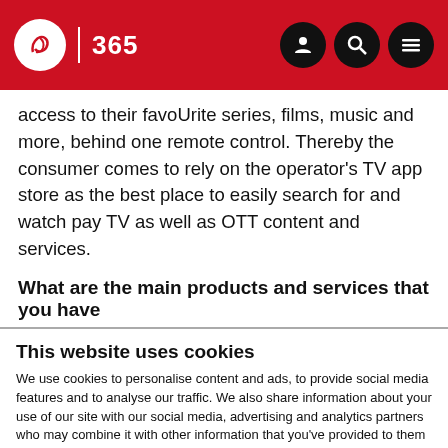IBC 365 | 365
access to their favoUrite series, films, music and more, behind one remote control. Thereby the consumer comes to rely on the operator's TV app store as the best place to easily search for and watch pay TV as well as OTT content and services.
What are the main products and services that you have
This website uses cookies
We use cookies to personalise content and ads, to provide social media features and to analyse our traffic. We also share information about your use of our site with our social media, advertising and analytics partners who may combine it with other information that you've provided to them or that they've collected from your use of their services. You can opt out of certain types of cookies below before proceeding to the website.
Use necessary cookies only | Allow all cookies
Show details